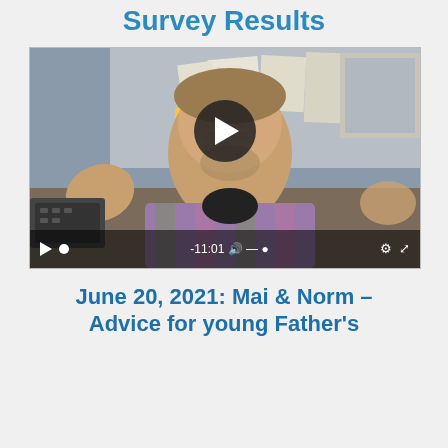Survey Results
[Figure (screenshot): Video player screenshot showing a man with glasses and a plaid shirt sitting at a desk, gesturing with his hands. A play button is overlaid in the center. The control bar shows -11:01 timestamp.]
June 20, 2021: Mai & Norm - Advice for young Father's